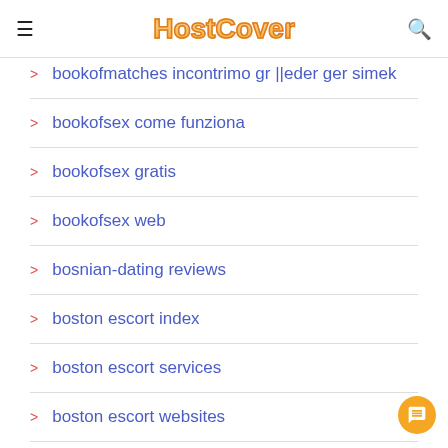HostCover
bookofmatches incontrimo gr ||eder ger simek
bookofsex come funziona
bookofsex gratis
bookofsex web
bosnian-dating reviews
boston escort index
boston escort services
boston escort websites